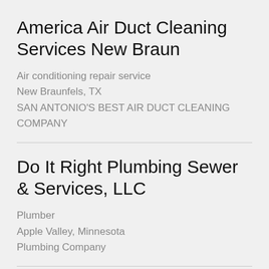America Air Duct Cleaning Services New Braun
Air conditioning repair service
New Braunfels, TX
SAN ANTONIO'S BEST AIR DUCT CLEANING COMPANY
Do It Right Plumbing Sewer & Services, LLC
Plumber
Apple Valley, Minnesota
Plumbing Company